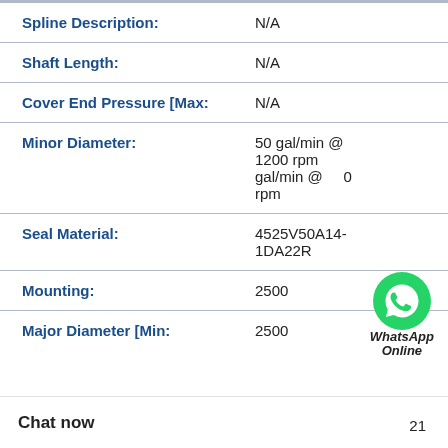| Field | Value |
| --- | --- |
| Spline Description: | N/A |
| Shaft Length: | N/A |
| Cover End Pressure [Max: | N/A |
| Minor Diameter: | 50 gal/min @ 1200 rpm gal/min @ 0 rpm |
| Seal Material: | 4525V50A14-1DA22R |
| Mounting: | 2500 |
| Major Diameter [Min: | 2500 |
WhatsApp Online
Chat now  21